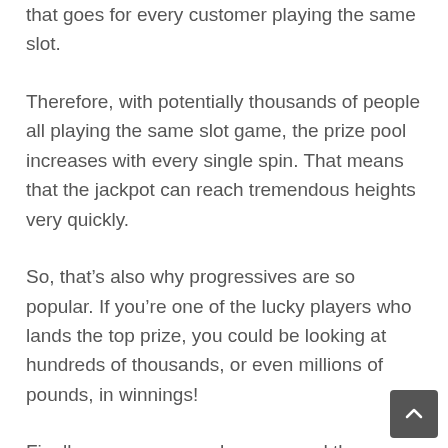that goes for every customer playing the same slot.
Therefore, with potentially thousands of people all playing the same slot game, the prize pool increases with every single spin. That means that the jackpot can reach tremendous heights very quickly.
So, that’s also why progressives are so popular. If you’re one of the lucky players who lands the top prize, you could be looking at hundreds of thousands, or even millions of pounds, in winnings!
Finally, once someone has scooped the jackpot, the prize pool drops to...